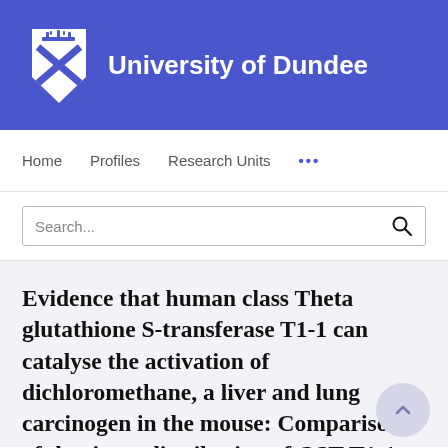[Figure (logo): University of Dundee logo: white shield with crown and X pattern on blue background, next to white text 'University of Dundee']
Home   Profiles   Research Units   ...
Search...
Evidence that human class Theta glutathione S-transferase T1-1 can catalyse the activation of dichloromethane, a liver and lung carcinogen in the mouse: Comparison of the tissue distribution of GST T1-1 with that